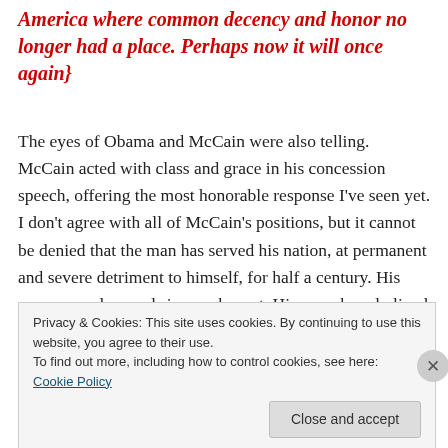America where common decency and honor no longer had a place. Perhaps now it will once again}
The eyes of Obama and McCain were also telling. McCain acted with class and grace in his concession speech, offering the most honorable response I've seen yet. I don't agree with all of McCain's positions, but it cannot be denied that the man has served his nation, at permanent and severe detriment to himself, for half a century. His eyes were clear and sincere, honest. His speech underlined the very reasons why, of the two men offered, he was hands down the best choice. {Senator McCain has
Privacy & Cookies: This site uses cookies. By continuing to use this website, you agree to their use. To find out more, including how to control cookies, see here: Cookie Policy